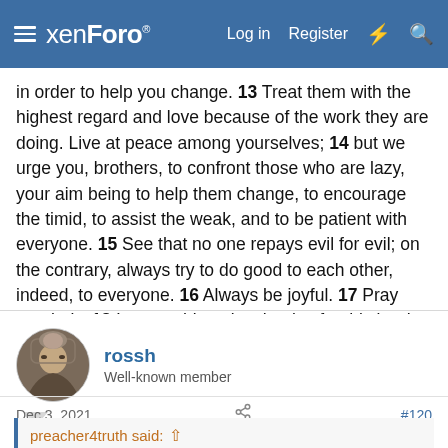xenForo — Log in | Register
in order to help you change. 13 Treat them with the highest regard and love because of the work they are doing. Live at peace among yourselves; 14 but we urge you, brothers, to confront those who are lazy, your aim being to help them change, to encourage the timid, to assist the weak, and to be patient with everyone. 15 See that no one repays evil for evil; on the contrary, always try to do good to each other, indeed, to everyone. 16 Always be joyful. 17 Pray regularly. 18 In everything give thanks, for this is what God wants from you who are united with the Messiah Yeshua.
rossh
Well-known member
Dec 3, 2021
#120
preacher4truth said:
You still believe you chose your way into salvation.